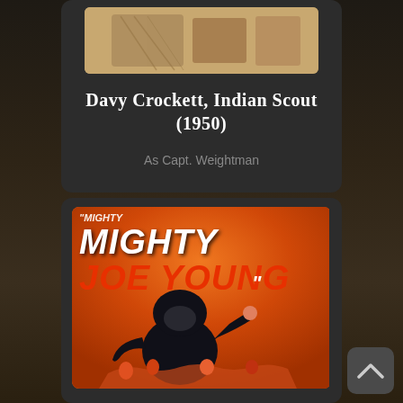[Figure (screenshot): Movie card for 'Davy Crockett, Indian Scout (1950)' with a sepia-toned photo at top, title text in white serif font, and role credit 'As Capt. Weightman' in gray text]
[Figure (screenshot): Movie card for 'Mighty Joe Young' showing the classic movie poster with a large gorilla on an orange background with red title text, partially visible]